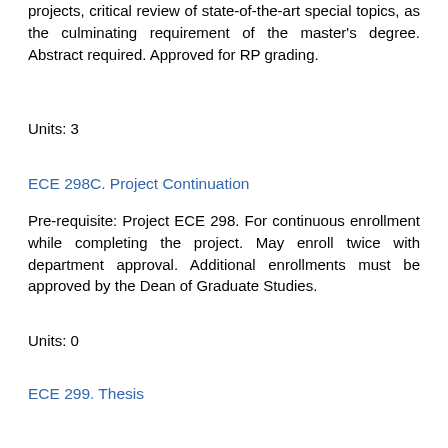projects, critical review of state-of-the-art special topics, as the culminating requirement of the master's degree. Abstract required. Approved for RP grading.
Units: 3
ECE 298C. Project Continuation
Pre-requisite: Project ECE 298. For continuous enrollment while completing the project. May enroll twice with department approval. Additional enrollments must be approved by the Dean of Graduate Studies.
Units: 0
ECE 299. Thesis
Prerequisite: see [-LINK-]. Preparation, completion, and submission of an acceptable thesis for master's degree. Approved for RP grading.
Units: 3-6